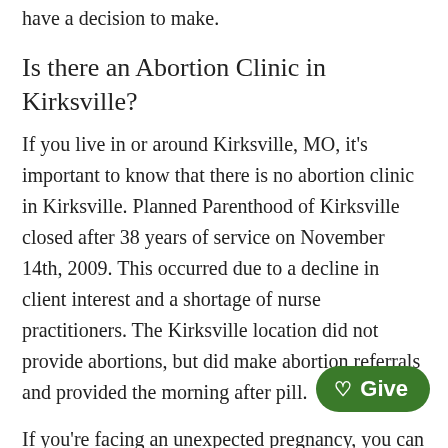have a decision to make.
Is there an Abortion Clinic in Kirksville?
If you live in or around Kirksville, MO, it’s important to know that there is no abortion clinic in Kirksville. Planned Parenthood of Kirksville closed after 38 years of service on November 14th, 2009. This occurred due to a decline in client interest and a shortage of nurse practitioners. The Kirksville location did not provide abortions, but did make abortion referrals and provided the morning after pill.
If you’re facing an unexpected pregnancy, you can still get the help you need from other local resources. Lifeline Pregnancy Help Clinic offers many no-cost and confidential services. These include pregnancy tests and ultrasounds, as well as options counseling, in which you’ll get to tal… with a nurse or counselor and ask questions about your next